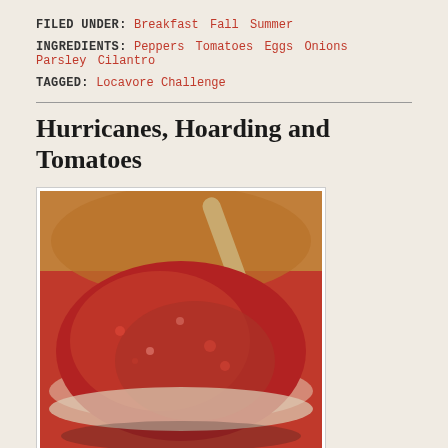FILED UNDER: Breakfast Fall Summer
INGREDIENTS: Peppers Tomatoes Eggs Onions Parsley Cilantro
TAGGED: Locavore Challenge
Hurricanes, Hoarding and Tomatoes
[Figure (photo): A bowl of red tomato sauce or crushed tomatoes with a wooden spoon, viewed from above. The sauce has a chunky texture with orange-red coloring and some breadcrumb or grain topping.]
Here we are in Brooklyn waiting for the storm to come (that would be Hurricane Irene). She has freaked this city out and we've battered down and stocked up in anticipation. I read advisories about having